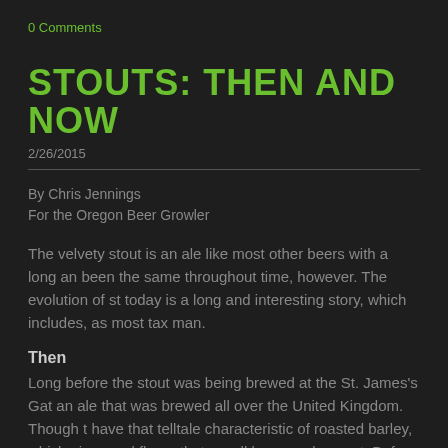0 Comments
STOUTS: THEN AND NOW
2/26/2015
By Chris Jennings
For the Oregon Beer Growler
The velvety stout is an ale like most other beers with a long an been the same throughout time, however. The evolution of st today is a long and interesting story, which includes, as most tax man.
Then
Long before the stout was being brewed at the St. James's Gat an ale that was brewed all over the United Kingdom. Though t have that telltale characteristic of roasted barley, which gives and flavor that we all know and expect. Before roasted barley descriptor for a beer that was higher in alcohol content, th